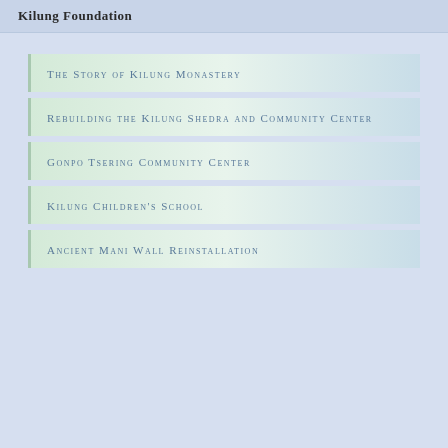Kilung Foundation
The Story of Kilung Monastery
Rebuilding the Kilung Shedra and Community Center
Gonpo Tsering Community Center
Kilung Children's School
Ancient Mani Wall Reinstallation